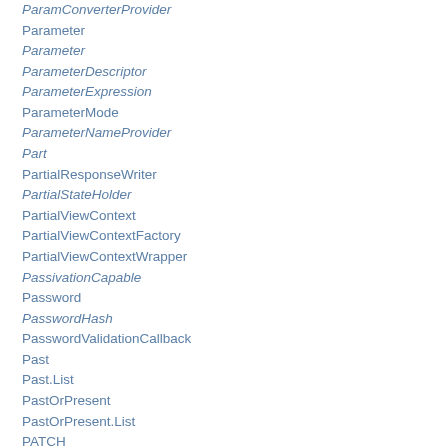ParamConverterProvider
Parameter
Parameter
ParameterDescriptor
ParameterExpression
ParameterMode
ParameterNameProvider
Part
PartialResponseWriter
PartialStateHolder
PartialViewContext
PartialViewContextFactory
PartialViewContextWrapper
PassivationCapable
Password
PasswordHash
PasswordValidationCallback
Past
Past.List
PastOrPresent
PastOrPresent.List
PATCH
Path
Path
Path
Path.BeanNode
Path.ConstructorNode
Path.ContainerElementNode